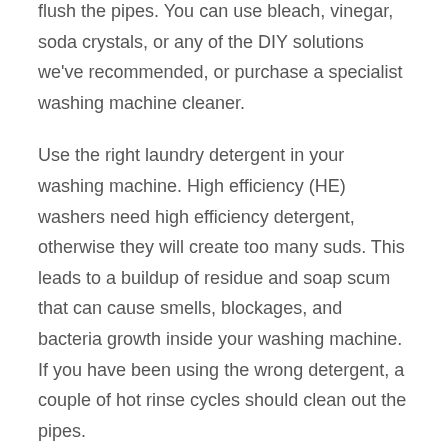flush the pipes. You can use bleach, vinegar, soda crystals, or any of the DIY solutions we've recommended, or purchase a specialist washing machine cleaner.
Use the right laundry detergent in your washing machine. High efficiency (HE) washers need high efficiency detergent, otherwise they will create too many suds. This leads to a buildup of residue and soap scum that can cause smells, blockages, and bacteria growth inside your washing machine. If you have been using the wrong detergent, a couple of hot rinse cycles should clean out the pipes.
Don't leave wet clothes in your washing machine. We're all guilty of this sometimes, but damp clothes contribute